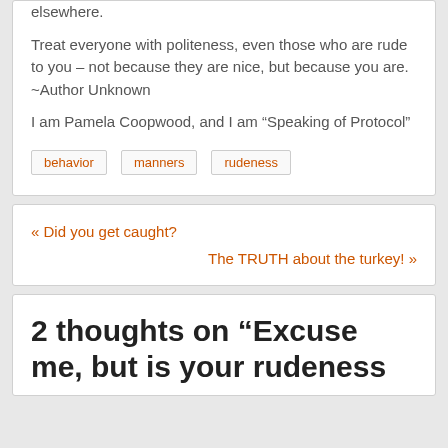elsewhere.
Treat everyone with politeness, even those who are rude to you – not because they are nice, but because you are.  ~Author Unknown
I am Pamela Coopwood, and I am “Speaking of Protocol”
behavior
manners
rudeness
« Did you get caught?
The TRUTH about the turkey! »
2 thoughts on “Excuse me, but is your rudeness